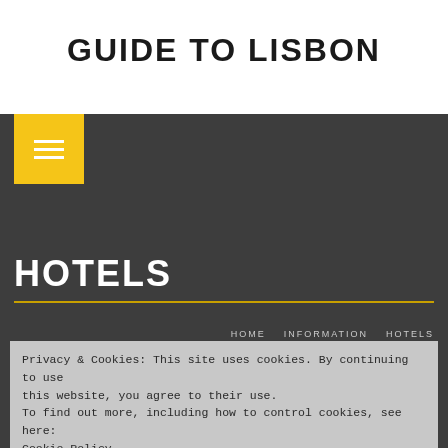GUIDE TO LISBON
[Figure (screenshot): Dark navigation header with yellow hamburger menu button and nav links: HOME, INFORMATION, HOTELS, and HOTELS section heading with gold underline, plus cookie consent banner.]
Privacy & Cookies: This site uses cookies. By continuing to use this website, you agree to their use.
To find out more, including how to control cookies, see here:
Cookie Policy
Close and accept